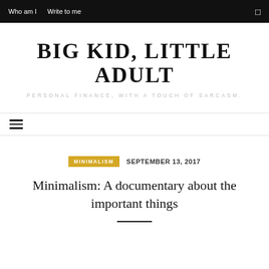Who am I   Write to me
BIG KID, LITTLE ADULT
PERSONAL FINANCE, WITH A TOUCH OF SARCASM.
≡ (hamburger menu)
MINIMALISM   SEPTEMBER 13, 2017
Minimalism: A documentary about the important things